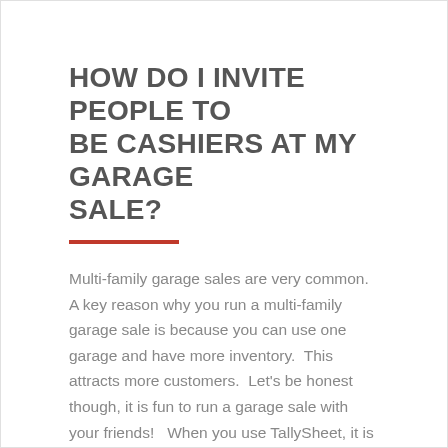HOW DO I INVITE PEOPLE TO BE CASHIERS AT MY GARAGE SALE?
Multi-family garage sales are very common.  A key reason why you run a multi-family garage sale is because you can use one garage and have more inventory.  This attracts more customers.  Let's be honest though, it is fun to run a garage sale with your friends!   When you use TallySheet, it is super simple […]
CONTINUE READING